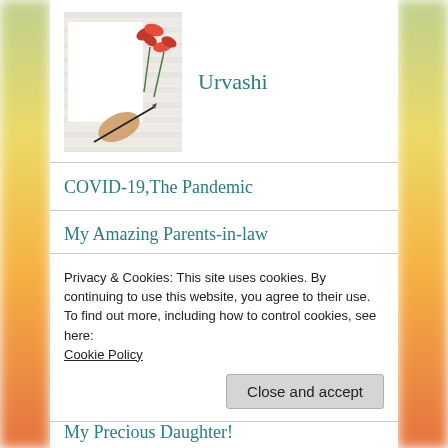[Figure (photo): Person's hand writing on paper with red flowers, profile photo for Urvashi blog]
Urvashi
COVID-19,The Pandemic
My Amazing Parents-in-law
Nani (Gran)
Diwali
Privacy & Cookies: This site uses cookies. By continuing to use this website, you agree to their use.
To find out more, including how to control cookies, see here:
Cookie Policy
My Precious Daughter!